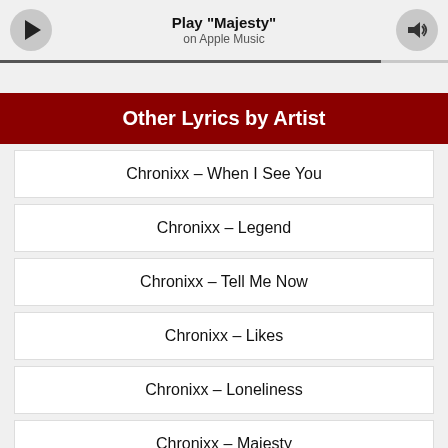[Figure (other): Apple Music player bar with play button, 'Play "Majesty"' title, 'on Apple Music' subtitle, progress bar, and volume button]
Other Lyrics by Artist
Chronixx – When I See You
Chronixx – Legend
Chronixx – Tell Me Now
Chronixx – Likes
Chronixx – Loneliness
Chronixx – Majesty
Chronixx – Black Is Beautiful
Chronixx – Selassie Children